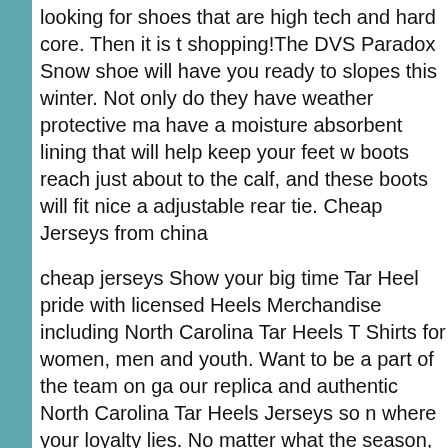looking for shoes that are high tech and hard core. Then it is time for shopping!The DVS Paradox Snow shoe will have you ready to hit the slopes this winter. Not only do they have weather protective ma... have a moisture absorbent lining that will help keep your feet w... boots reach just about to the calf, and these boots will fit nice a... adjustable rear tie. Cheap Jerseys from china
cheap jerseys Show your big time Tar Heel pride with licensed N... Heels Merchandise including North Carolina Tar Heels T Shirts for women, men and youth. Want to be a part of the team on ga... our replica and authentic North Carolina Tar Heels Jerseys so m... where your loyalty lies. No matter what the season, the Fox Sp... you covered with the newest Tar Heels Apparel, North Carolina... Sweatshirts and items that no students or alumni should be with...
Cheap Jerseys from china As adults, the communication betwe... me has been synonymous with miscommunication. When I'm u... consolation, she either offers unsolicited advice that I translate a... suggests that I read Deepak Chopra, which I find patronizing; o... meant to be, it was meant